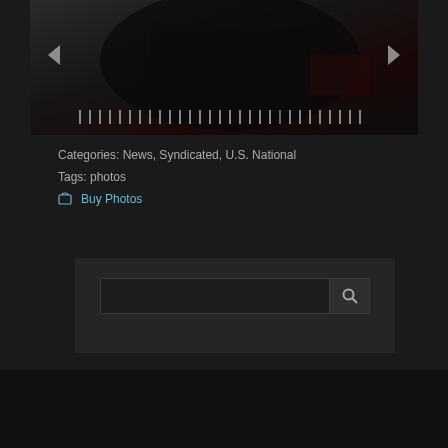[Figure (photo): Dark photograph showing a person in black clothing, partially visible, on what appears to be a dark couch or chair. Navigation arrows on left and right sides. Filmstrip/slideshow indicator at the bottom of the image.]
Categories: News, Syndicated, U.S. National
Tags: photos
🛒 Buy Photos
[Figure (screenshot): Search widget area with a search input field and search button (magnifying glass icon) on a dark background panel.]